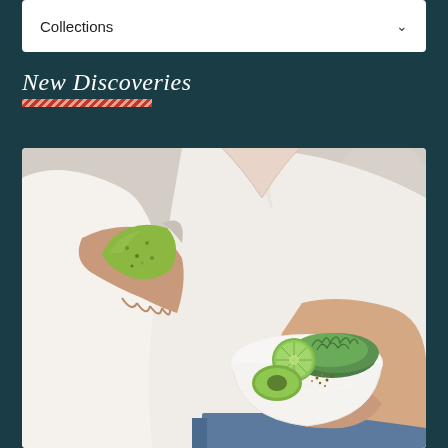Collections
New Discoveries
[Figure (photo): Person in white shirt holding a white bowl with greens, lime, avocado, and seeds, while holding a half-eaten green cookie/cracker in the other hand. A healthy food lifestyle photo.]